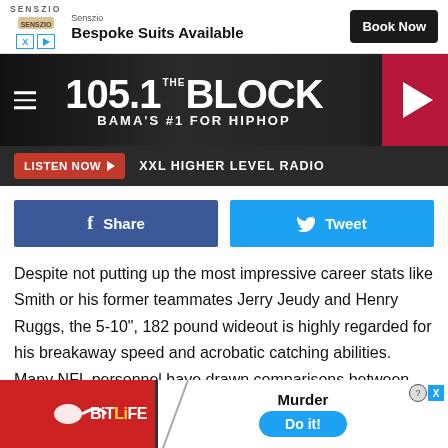[Figure (screenshot): Senszio Bespoke Suits advertisement banner with Book Now button]
[Figure (screenshot): 105.1 The Block BAMA'S #1 FOR HIPHOP radio station banner with play button]
[Figure (screenshot): Listen Now button bar with XXL HIGHER LEVEL RADIO text]
[Figure (screenshot): Facebook Share and Twitter Tweet buttons]
Despite not putting up the most impressive career stats like Smith or his former teammates Jerry Jeudy and Henry Ruggs, the 5-10", 182 pound wideout is highly regarded for his breakaway speed and acrobatic catching abilities. Many NFL personnel have drawn comparisons between Waddle's capabilities and star Kansas City Chiefs wide receiver Tyreek Hill.
[Figure (screenshot): BitLife Murder Do it! advertisement banner at the bottom of the page]